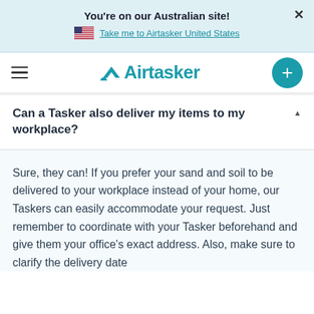You're on our Australian site!
Take me to Airtasker United States
[Figure (logo): Airtasker logo with hamburger menu and plus button navigation bar]
Can a Tasker also deliver my items to my workplace?
Sure, they can! If you prefer your sand and soil to be delivered to your workplace instead of your home, our Taskers can easily accommodate your request. Just remember to coordinate with your Tasker beforehand and give them your office's exact address. Also, make sure to clarify the delivery date and time to ensure a convenient schedule.